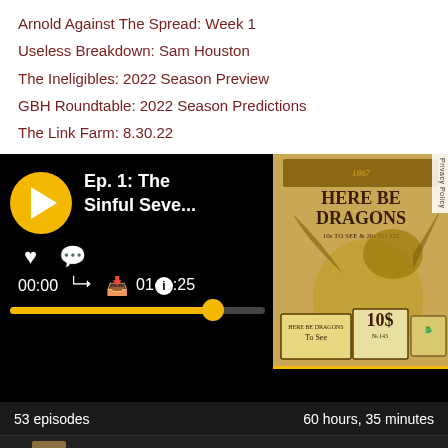Arnold Against The Spread: Week 1
Useless Breakdown: Sam Houston
The Ineligibles: 2022 Season Preview
GBH Roundtable: 2022 Season Predictions
The Link Farm: 8.30.22
[Figure (screenshot): Podcast player UI showing episode 'Ep. 1: The Sinful Seve...' with play button, heart, comment, share, download icons, time 00:00 and 01:21:25, progress bar, and dragon-themed podcast artwork 'Here Be Dragons' on the right. Privacy Policy label visible.]
53 episodes	60 hours, 35 minutes
[Figure (screenshot): Mini player bar at bottom showing play button, thumbnail, episode title 'Ep. 1: The Sinful Seve...', explicit E badge, info icon, and time 01:21:25]